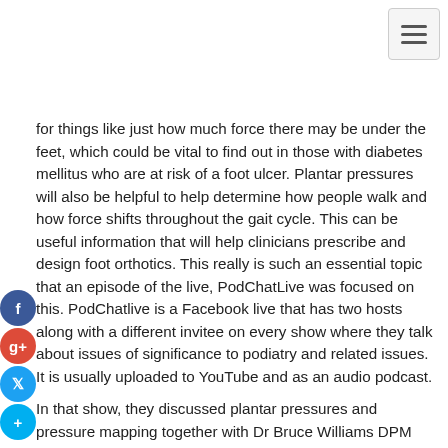for things like just how much force there may be under the feet, which could be vital to find out in those with diabetes mellitus who are at risk of a foot ulcer. Plantar pressures will also be helpful to help determine how people walk and how force shifts throughout the gait cycle. This can be useful information that will help clinicians prescribe and design foot orthotics. This really is such an essential topic that an episode of the live, PodChatLive was focused on this. PodChatlive is a Facebook live that has two hosts along with a different invitee on every show where they talk about issues of significance to podiatry and related issues. It is usually uploaded to YouTube and as an audio podcast.
In that show, they discussed plantar pressures and pressure mapping together with Dr Bruce Williams DPM from Indiana, USA. He is a Fellow and past President of the American Academy of Podiatric Sports Medicine and owner of Breakthrough Podiatry in NorthWest Indiana and has substantial knowledge on plantar pressure measurements, pressure mapping and their interpretation and clinical use. He utilises both the in-shoe method and pressure mat equipment in his center and has been doing so for nearly 20